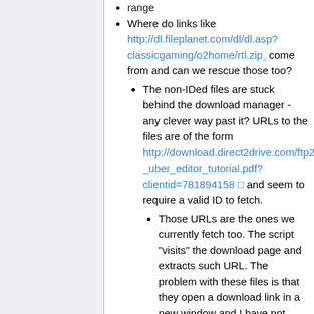range
Where do links like http://dl.fileplanet.com/dl/dl.asp?classicgaming/o2home/rtl.zip come from and can we rescue those too?
The non-IDed files are stuck behind the download manager - any clever way past it? URLs to the files are of the form http://download.direct2drive.com/ftp2_uber_editor_tutorial.pdf?clientid=781894158 and seem to require a valid ID to fetch.
Those URLs are the ones we currently fetch too. The script "visits" the download page and extracts such URL. The problem with these files is that they open a download link in a new window and I have not